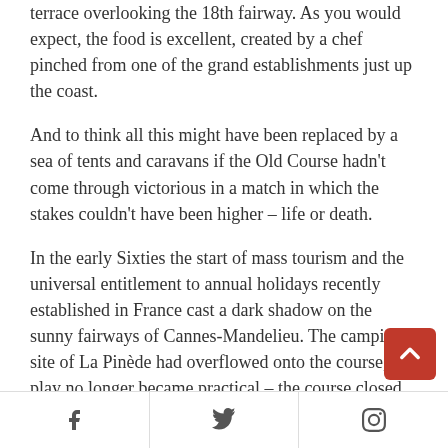terrace overlooking the 18th fairway. As you would expect, the food is excellent, created by a chef pinched from one of the grand establishments just up the coast.
And to think all this might have been replaced by a sea of tents and caravans if the Old Course hadn't come through victorious in a match in which the stakes couldn't have been higher – life or death.
In the early Sixties the start of mass tourism and the universal entitlement to annual holidays recently established in France cast a dark shadow on the sunny fairways of Cannes-Mandelieu. The camping site of La Pinède had overflowed onto the course, and play no longer became practical – the course closed.
f  [twitter]  p